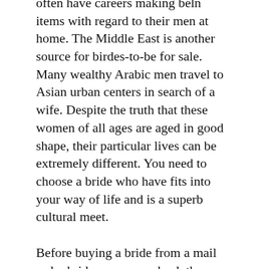often have careers making beln items with regard to their men at home. The Middle East is another source for birdes-to-be for sale. Many wealthy Arabic men travel to Asian urban centers in search of a wife. Despite the truth that these women of all ages are aged in good shape, their particular lives can be extremely different. You need to choose a bride who have fits into your way of life and is a superb cultural meet.
Before buying a bride from a mail order bride company, check the background. Ensure that they are professional and get personal references. Beware of scammers exactly who try to attract unsuspecting guys into receiving their money. Postal mail order brides to be are the simplest way to find a wife available for purchase – all you need to do is choose a reliable agency that includes a track record of success. The risk involved is low, and